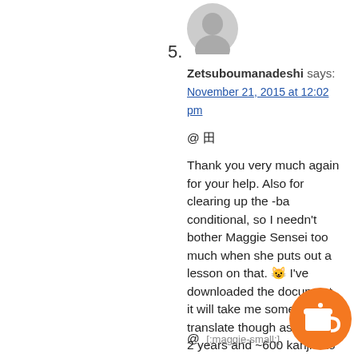[Figure (photo): Gray avatar/profile placeholder image]
5.
Zetsuboumanadeshi says:
November 21, 2015 at 12:02 pm
@ 田

Thank you very much again for your help. Also for clearing up the -ba conditional, so I needn't bother Maggie Sensei too much when she puts out a lesson on that. 😸 I've downloaded the document, it will take me some time to translate though as I'm only 2 years and ~600 kanji into Japanese and therefore am still lacking significant kanji- and vocabularyknowledge to read original texts. But it will be a good practice.
@ :maggie-small: